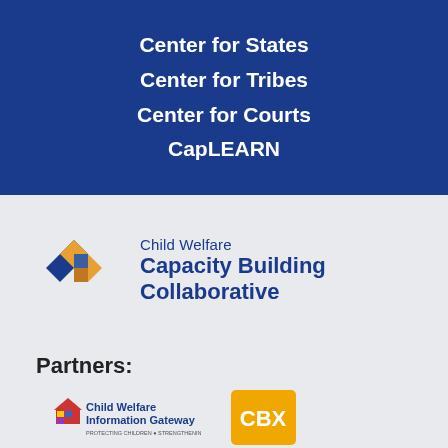Center for States
Center for Tribes
Center for Courts
CapLEARN
[Figure (logo): Child Welfare Capacity Building Collaborative logo with two overlapping diamond shapes in blue and orange]
Child Welfare Capacity Building Collaborative
Partners:
[Figure (logo): Child Welfare Information Gateway logo with house icon and colorful squares]
[Figure (logo): CBX logo on gold/yellow square background]